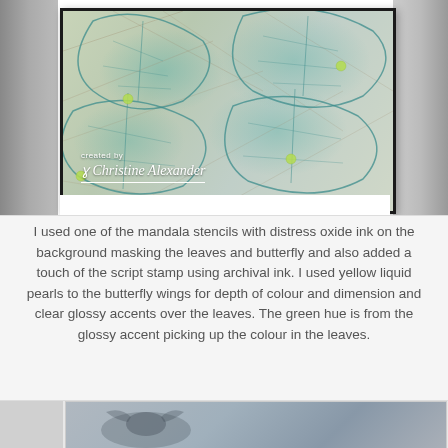[Figure (photo): Close-up photo of a handmade card featuring teal/turquoise leaf stamped design with mosaic-like background in muted earth tones, green pearl accents on leaves, displayed in a black-bordered white card frame. Watermark reads 'created by Christine Alexander'. Partial views of other cards visible on left and right sides.]
I used one of the mandala stencils with distress oxide ink on the background masking the leaves and butterfly and also added a touch of the script stamp using archival ink. I used yellow liquid pearls to the butterfly wings for depth of colour and dimension and clear glossy accents over the leaves. The green hue is from the glossy accent picking up the colour in the leaves.
[Figure (photo): Partial view of another handmade card at the bottom of the page, showing a bluish-grey bird or butterfly design.]